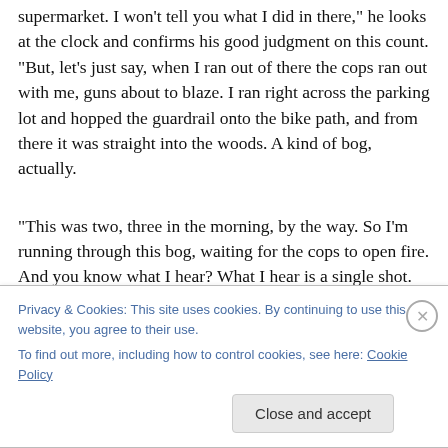supermarket. I won't tell you what I did in there," he looks at the clock and confirms his good judgment on this count. "But, let's just say, when I ran out of there the cops ran out with me, guns about to blaze. I ran right across the parking lot and hopped the guardrail onto the bike path, and from there it was straight into the woods. A kind of bog, actually.
“This was two, three in the morning, by the way. So I’m running through this bog, waiting for the cops to open fire. And you know what I hear? What I hear is a single shot.
Privacy & Cookies: This site uses cookies. By continuing to use this website, you agree to their use.
To find out more, including how to control cookies, see here: Cookie Policy